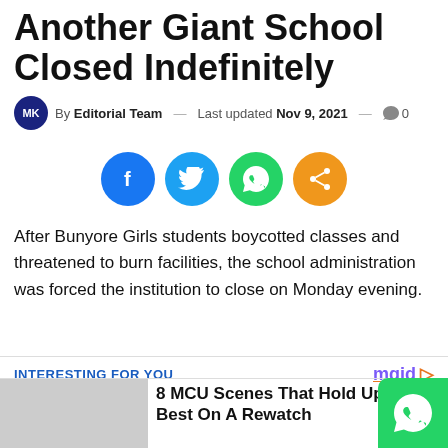Another Giant School Closed Indefinitely
By Editorial Team — Last updated Nov 9, 2021 — 0
[Figure (infographic): Row of four social share buttons: Facebook (dark blue circle), Twitter (light blue circle), WhatsApp (green circle), Share (orange circle)]
After Bunyore Girls students boycotted classes and threatened to burn facilities, the school administration was forced the institution to close on Monday evening.
INTERESTING FOR YOU
8 MCU Scenes That Hold Up The Best On A Rewatch